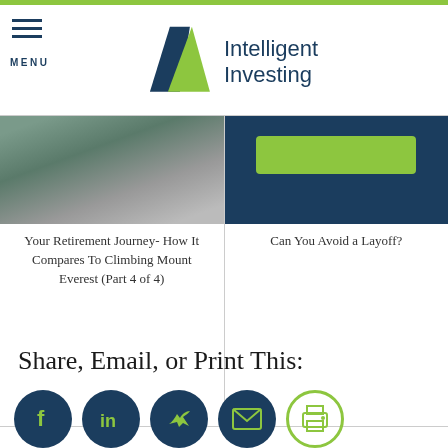MENU | Intelligent Investing
[Figure (screenshot): Card with mountain image and text: Your Retirement Journey- How It Compares To Climbing Mount Everest (Part 4 of 4)]
[Figure (screenshot): Card with dark navy background and green button, text: Can You Avoid a Layoff?]
Share, Email, or Print This:
[Figure (infographic): Social sharing icons row: Facebook, LinkedIn, Twitter, Email, Print — circular dark navy buttons]
Filed Under: Financial Planning, Investing/ Markets, Retirement, Taxes
Tagged With: Behavioral Finance, ETFs, Financial